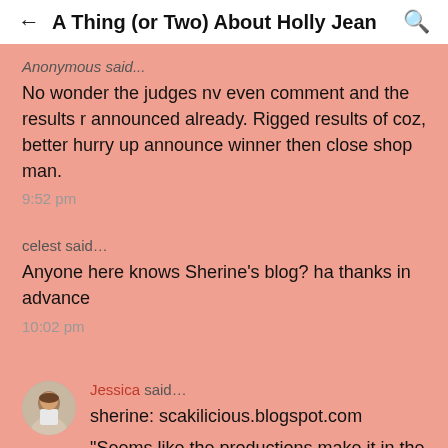← A Thing (or Two) About Holly Jean 🔍
Anonymous said...
No wonder the judges nv even comment and the results r announced already. Rigged results of coz, better hurry up announce winner then close shop man.
9:52 pm
celest said...
Anyone here knows Sherine's blog? ha thanks in advance
10:02 pm
Jessica said...
sherine: scakilicious.blogspot.com
"Seems like the productions make it in the way